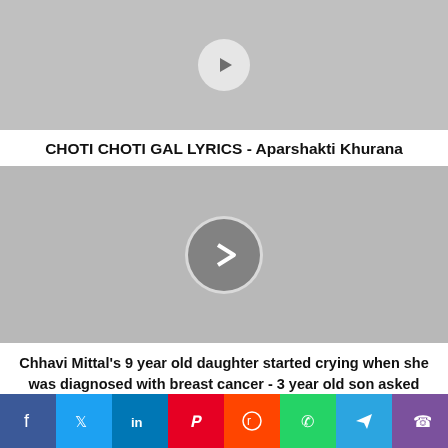[Figure (screenshot): Gray placeholder image with a semi-transparent white circular play button at top]
CHOTI CHOTI GAL LYRICS - Aparshakti Khurana
[Figure (screenshot): Gray placeholder image with a gray circular play/next button in center]
Chhavi Mittal's 9 year old daughter started crying when she was diagnosed with breast cancer - 3 year old son asked some questions - chhavi mittal reveals about her 9 year old daughter reaction after knowing about breast cancer
Social share bar: Facebook, Twitter, LinkedIn, Pinterest, Reddit, WhatsApp, Telegram, Viber